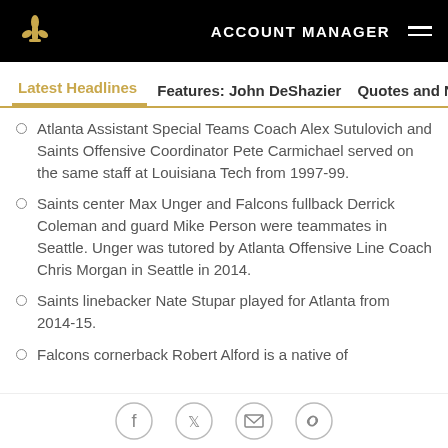ACCOUNT MANAGER
Latest Headlines  Features: John DeShazier  Quotes and Notes
Atlanta Assistant Special Teams Coach Alex Sutulovich and Saints Offensive Coordinator Pete Carmichael served on the same staff at Louisiana Tech from 1997-99.
Saints center Max Unger and Falcons fullback Derrick Coleman and guard Mike Person were teammates in Seattle. Unger was tutored by Atlanta Offensive Line Coach Chris Morgan in Seattle in 2014.
Saints linebacker Nate Stupar played for Atlanta from 2014-15.
Falcons cornerback Robert Alford is a native of
[Figure (other): Social sharing icons: Facebook, Twitter, Email, Link]